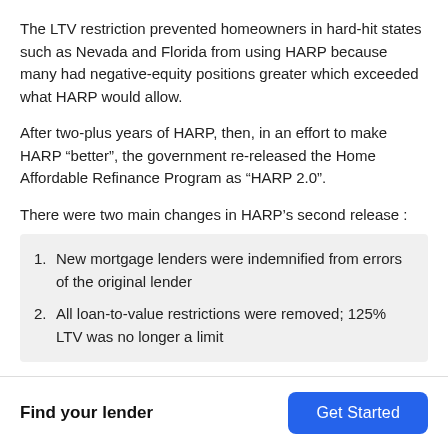The LTV restriction prevented homeowners in hard-hit states such as Nevada and Florida from using HARP because many had negative-equity positions greater which exceeded what HARP would allow.
After two-plus years of HARP, then, in an effort to make HARP “better”, the government re-released the Home Affordable Refinance Program as “HARP 2.0”.
There were two main changes in HARP’s second release :
New mortgage lenders were indemnified from errors of the original lender
All loan-to-value restrictions were removed; 125% LTV was no longer a limit
Find your lender  Get Started